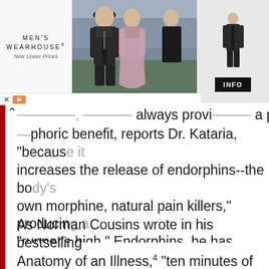[Figure (advertisement): Men's Wearhouse advertisement banner showing couple in formalwear, logo with 'New Lower Prices' tagline, and INFO button]
...phoric benefit, reports Dr. Kataria, "because it increases the release of endorphins--the body's own morphine, natural pain killers," producing a "runner's high." Endorphins, he has proven, can lessen pain perception in those suffering from arthritis, tension headaches, and a myriad of other maladies faced by seniors or the chronically ill.
As Norman Cousins wrote in his bestselling book Anatomy of an Illness,4 "ten minutes of genuine belly laughter had an anesthetic effect and would give me at least two hours of pain-free sleep...